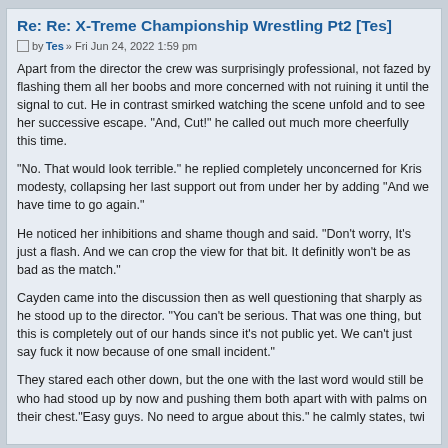Re: Re: X-Treme Championship Wrestling Pt2 [Tes]
by Tes » Fri Jun 24, 2022 1:59 pm
Apart from the director the crew was surprisingly professional, not fazed by flashing them all her boobs and more concerned with not ruining it until the signal to cut. He in contrast smirked watching the scene unfold and to see her successive escape. "And, Cut!" he called out much more cheerfully this time.
"No. That would look terrible." he replied completely unconcerned for Kris modesty, collapsing her last support out from under her by adding "And we have time to go again."
He noticed her inhibitions and shame though and said. "Don't worry, It's just a flash. And we can crop the view for that bit. It definitly won't be as bad as the match."
Cayden came into the discussion then as well questioning that sharply as he stood up to the director. "You can't be serious. That was one thing, but this is completely out of our hands since it's not public yet. We can't just say fuck it now because of one small incident."
They stared each other down, but the one with the last word would still be Cayden who had stood up by now and pushing them both apart with with palms on their chest."Easy guys. No need to argue about this." he calmly states, tying